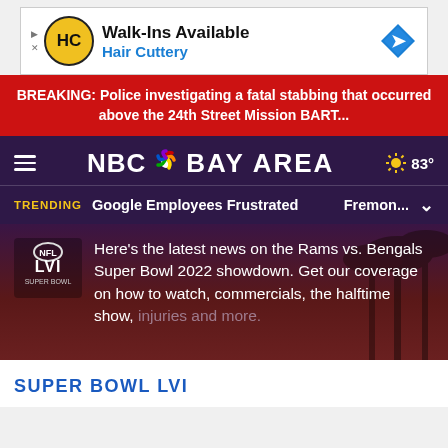[Figure (other): Hair Cuttery advertisement banner with logo, 'Walk-Ins Available' text, and navigation arrow icon]
BREAKING: Police investigating a fatal stabbing that occurred above the 24th Street Mission BART...
[Figure (logo): NBC Bay Area logo with peacock icon and weather widget showing 83 degrees]
TRENDING  Google Employees Frustrated  Fremon...
Here's the latest news on the Rams vs. Bengals Super Bowl 2022 showdown. Get our coverage on how to watch, commercials, the halftime show, injuries and more.
SUPER BOWL LVI